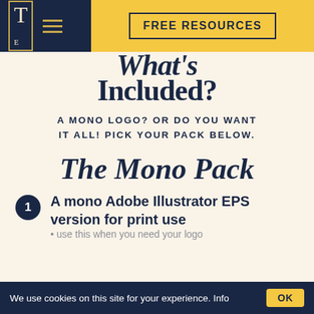FREE RESOURCES
What's Included?
A MONO LOGO? OR DO YOU WANT IT ALL! PICK YOUR PACK BELOW.
The Mono Pack
1 A mono Adobe Illustrator EPS version for print use
We use cookies on this site for your experience. Info